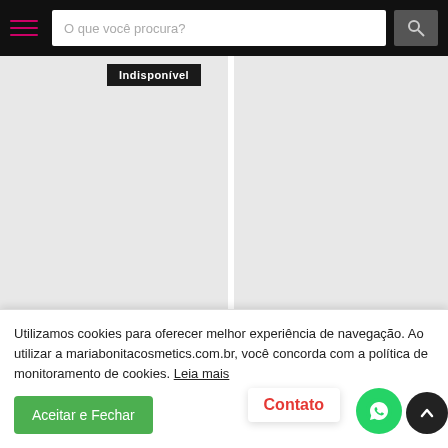O que você procura? [search bar]
[Figure (photo): Product image placeholder - left card, gray background, with 'Indisponível' badge]
[Figure (photo): Product image placeholder - right card, gray background]
MÁSCARA PARA CÍLIOS OH
GEL HIDRATANTE DEISY
Utilizamos cookies para oferecer melhor experiência de navegação. Ao utilizar a mariabonitacosmetics.com.br, você concorda com a política de monitoramento de cookies. Leia mais
Aceitar e Fechar
Contato